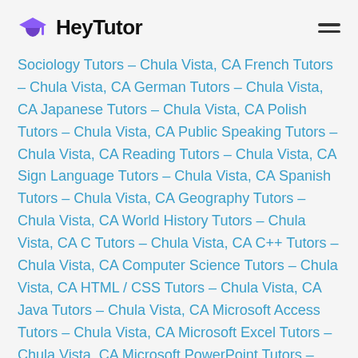HeyTutor
Sociology Tutors – Chula Vista, CA French Tutors – Chula Vista, CA German Tutors – Chula Vista, CA Japanese Tutors – Chula Vista, CA Polish Tutors – Chula Vista, CA Public Speaking Tutors – Chula Vista, CA Reading Tutors – Chula Vista, CA Sign Language Tutors – Chula Vista, CA Spanish Tutors – Chula Vista, CA Geography Tutors – Chula Vista, CA World History Tutors – Chula Vista, CA C Tutors – Chula Vista, CA C++ Tutors – Chula Vista, CA Computer Science Tutors – Chula Vista, CA HTML / CSS Tutors – Chula Vista, CA Java Tutors – Chula Vista, CA Microsoft Access Tutors – Chula Vista, CA Microsoft Excel Tutors – Chula Vista, CA Microsoft PowerPoint Tutors – Chula Vista, CA Microsoft Word Tutors – Chula Vista, CA Python Tutors – Chula Vista,